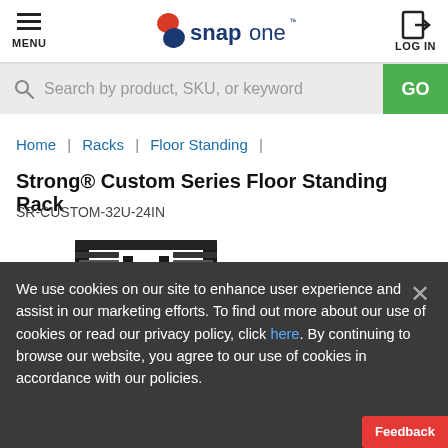MENU | Snap One | LOG IN
Search by product, SKU, or keyword
Home | Racks | Floor Standing |
Strong® Custom Series Floor Standing Rack
SR-CUSTOM-32U-24IN
[Figure (photo): Black floor standing server rack cabinet with open front frame design, showing vertical rails and cable management features]
We use cookies on our site to enhance user experience and assist in our marketing efforts. To find out more about our use of cookies or read our privacy policy, click here. By continuing to browse our website, you agree to our use of cookies in accordance with our policies.